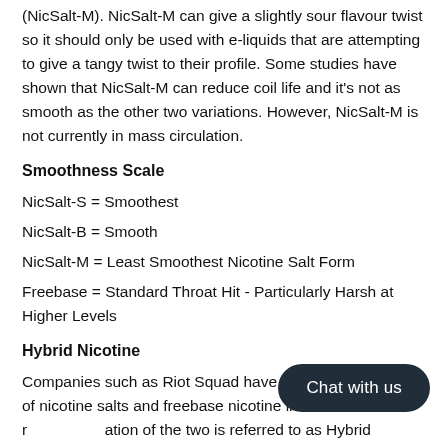(NicSalt-M). NicSalt-M can give a slightly sour flavour twist so it should only be used with e-liquids that are attempting to give a tangy twist to their profile. Some studies have shown that NicSalt-M can reduce coil life and it's not as smooth as the other two variations. However, NicSalt-M is not currently in mass circulation.
Smoothness Scale
NicSalt-S = Smoothest
NicSalt-B = Smooth
NicSalt-M = Least Smoothest Nicotine Salt Form
Freebase = Standard Throat Hit - Particularly Harsh at Higher Levels
Hybrid Nicotine
Companies such as Riot Squad have started [Chat with us button] n of nicotine salts and freebase nicotine in their r[...] ation of the two is referred to as Hybrid Nicotine and allows users to enjoy